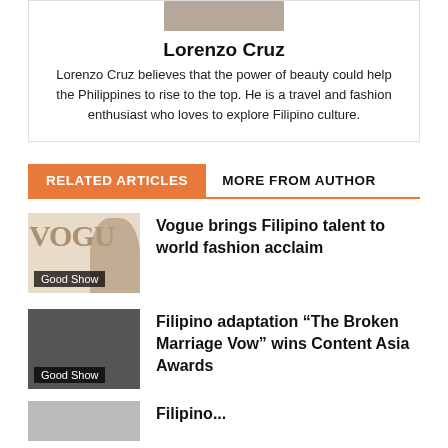Lorenzo Cruz
Lorenzo Cruz believes that the power of beauty could help the Philippines to rise to the top. He is a travel and fashion enthusiast who loves to explore Filipino culture.
RELATED ARTICLES
MORE FROM AUTHOR
Vogue brings Filipino talent to world fashion acclaim
Filipino adaptation “The Broken Marriage Vow” wins Content Asia Awards
Filipino...